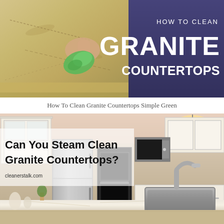[Figure (photo): Photo of a hand wiping a granite countertop with a green cloth, alongside a dark purple panel with white text reading HOW TO CLEAN GRANITE COUNTERTOPS]
How To Clean Granite Countertops Simple Green
[Figure (photo): Photo of a modern white kitchen with granite countertops, stainless steel appliances, and overlaid bold text reading Can You Steam Clean Granite Countertops? with cleanerstalk.com watermark]